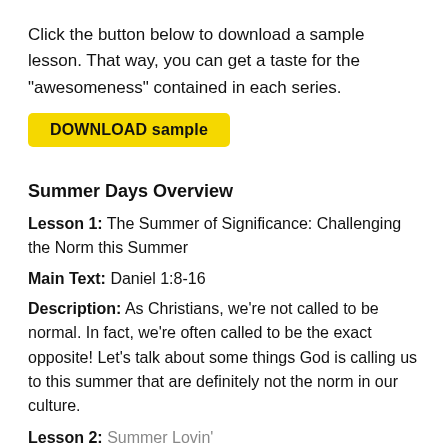Click the button below to download a sample lesson. That way, you can get a taste for the "awesomeness" contained in each series.
[Figure (other): Yellow button labeled 'DOWNLOAD sample']
Summer Days Overview
Lesson 1: The Summer of Significance: Challenging the Norm this Summer
Main Text: Daniel 1:8-16
Description: As Christians, we’re not called to be normal. In fact, we’re often called to be the exact opposite! Let’s talk about some things God is calling us to this summer that are definitely not the norm in our culture.
Lesson 2: Summer Lovin’